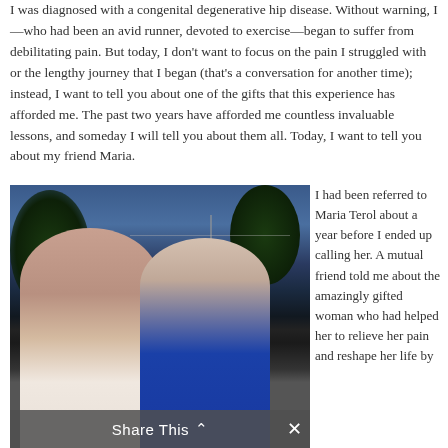I was diagnosed with a congenital degenerative hip disease. Without warning, I—who had been an avid runner, devoted to exercise—began to suffer from debilitating pain. But today, I don't want to focus on the pain I struggled with or the lengthy journey that I began (that's a conversation for another time); instead, I want to tell you about one of the gifts that this experience has afforded me. The past two years have afforded me countless invaluable lessons, and someday I will tell you about them all. Today, I want to tell you about my friend Maria.
[Figure (photo): Two women posing together outdoors at dusk/evening. The woman on the left has long dark brown hair and is wearing a white lace top. The woman on the right has long blonde hair and is wearing a blue sleeveless top. Trees and a power line pole are visible in the background against a blue evening sky.]
I had been referred to Maria Terol about a year before I ended up calling her. A mutual friend told me about the amazingly gifted woman who had helped her to relieve her pain and reshape her life by